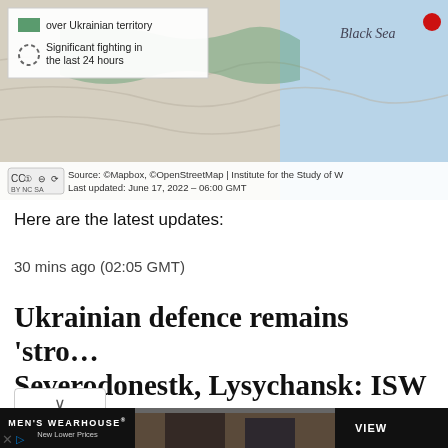[Figure (map): Map of Ukraine showing Russian-controlled territory over Ukrainian territory and areas of significant fighting in the last 24 hours. Black Sea visible at top right. Creative Commons licensed. Source: Mapbox, OpenStreetMap | Institute for the Study of War. Last updated: June 17, 2022 - 06:00 GMT]
Source: ©Mapbox, ©OpenStreetMap | Institute for the Study of W… Last updated: June 17, 2022 – 06:00 GMT
Here are the latest updates:
30 mins ago (02:05 GMT)
Ukrainian defence remains 'stro… Severodonestk, Lysychansk: ISW